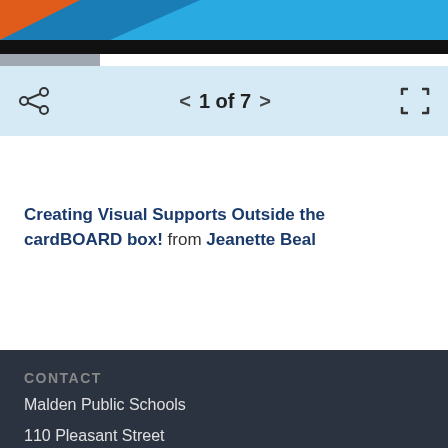[Figure (screenshot): Top banner with orange and teal graphic, black bar, gray strip, and navigation bar showing share icon, page navigation '1 of 7' with arrows, and fullscreen icon on light blue background]
Creating Visual Supports Outside the cardBOARD box! from Jeanette Beal
CONTACT
Malden Public Schools
110 Pleasant Street
Malden, MA 02148
Tel: (781) 397-6100